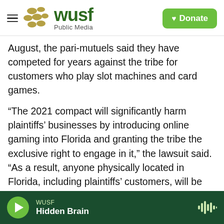WUSF Public Media | Donate
August, the pari-mutuels said they have competed for years against the tribe for customers who play slot machines and card games.
“The 2021 compact will significantly harm plaintiffs’ businesses by introducing online gaming into Florida and granting the tribe the exclusive right to engage in it,” the lawsuit said. “As a result, anyone physically located in Florida, including plaintiffs’ customers, will be able to engage in sports betting online with the tribe from their home or from any Florida location where they have access to an internet connection. This approval will therefore
WUSF Hidden Brain